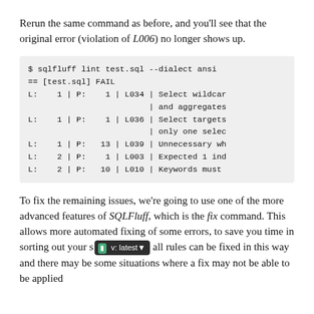Rerun the same command as before, and you'll see that the original error (violation of L006) no longer shows up.
[Figure (screenshot): Terminal output showing sqlfluff lint test.sql --dialect ansi command results with FAIL status and multiple lint violations listed: L034, L036, L039, L003, L010]
To fix the remaining issues, we're going to use one of the more advanced features of SQLFluff, which is the fix command. This allows more automated fixing of some errors, to save you time in sorting out your s... all rules can be fixed in this way and there may be some situations where a fix may not be able to be applied